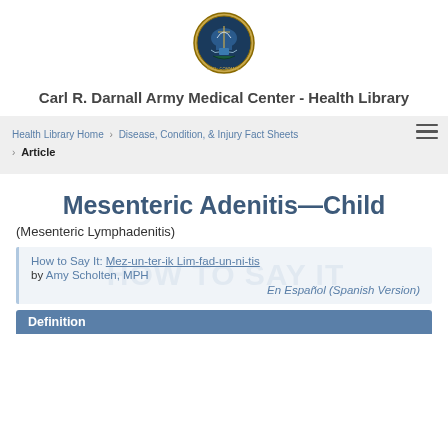[Figure (logo): Carl R. Darnall Army Medical Center circular insignia/crest with eagle and shield]
Carl R. Darnall Army Medical Center - Health Library
Health Library Home > Disease, Condition, & Injury Fact Sheets > Article
Mesenteric Adenitis—Child
(Mesenteric Lymphadenitis)
How to Say It: Mez-un-ter-ik Lim-fad-un-ni-tis
by Amy Scholten, MPH
En Español (Spanish Version)
Definition